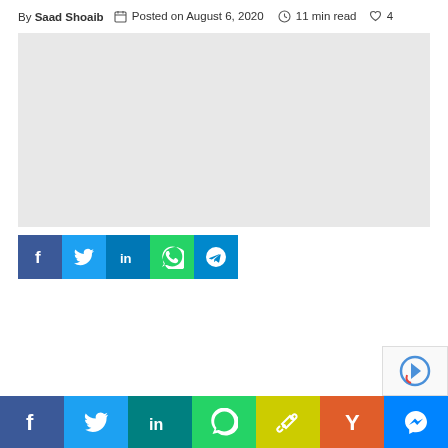By Saad Shoaib  Posted on August 6, 2020  11 min read  4
[Figure (photo): Light gray placeholder image rectangle]
[Figure (infographic): Social share buttons: Facebook (blue), Twitter (light blue), LinkedIn (dark blue), WhatsApp (green), Telegram (blue)]
[Figure (infographic): Bottom social share bar: Facebook (dark blue), Twitter (light blue), LinkedIn (teal), WhatsApp (green), Link/Copy (yellow-green), Hacker News / Y (orange), Messenger (blue)]